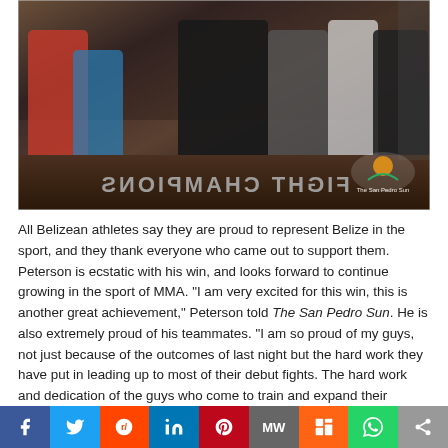[Figure (photo): Group photo of Belizean MMA athletes celebrating inside a fighting cage, holding up peace signs and trophies. Text on the mat reads 'FIGHT CHAMPIONS' mirrored. A watermark logo for The San Pedro Sun is visible in the bottom right of the photo.]
All Belizean athletes say they are proud to represent Belize in the sport, and they thank everyone who came out to support them. Peterson is ecstatic with his win, and looks forward to continue growing in the sport of MMA. "I am very excited for this win, this is another great achievement," Peterson told The San Pedro Sun. He is also extremely proud of his teammates. "I am so proud of my guys, not just because of the outcomes of last night but the hard work they have put in leading up to most of their debut fights. The hard work and dedication of the guys who come to train and expand their knowledge is obviously paying off."
[Figure (infographic): Social media sharing bar with buttons for Facebook, Twitter, Reddit, LinkedIn, Pinterest, MW, Mix, WhatsApp, and a general share button.]